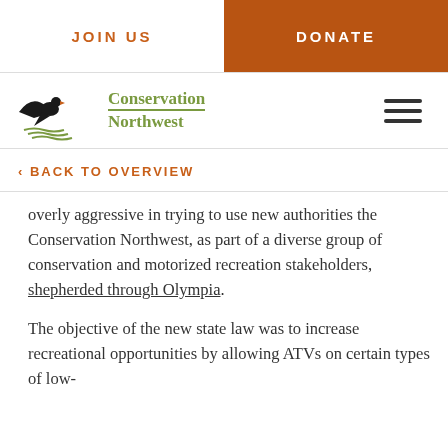JOIN US | DONATE
[Figure (logo): Conservation Northwest logo with eagle and text]
‹ BACK TO OVERVIEW
overly aggressive in trying to use new authorities the Conservation Northwest, as part of a diverse group of conservation and motorized recreation stakeholders, shepherded through Olympia.
The objective of the new state law was to increase recreational opportunities by allowing ATVs on certain types of low-speed (35 mph or less) roads while